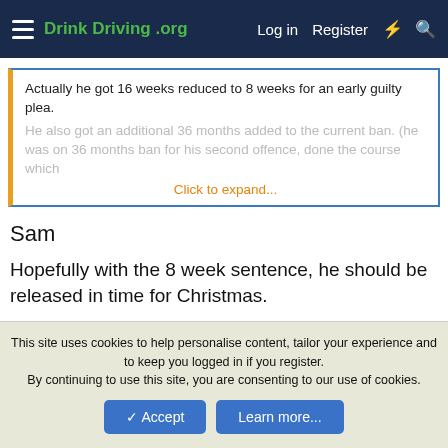Drink Driving .org | Log in | Register
Actually he got 16 weeks reduced to 8 weeks for an early guilty plea. He also got an additional 36 months added to the current ban. (he was on 36 months ban for his second offence, done the course which
Click to expand...
Sam
Hopefully with the 8 week sentence, he should be released in time for Christmas.
It would be in order for me to say that he needs to forget about driving again for a long long time. One step at a time, but I would think he will have a lot of bridges to cross before he can even consider driving again.
This site uses cookies to help personalise content, tailor your experience and to keep you logged in if you register.
By continuing to use this site, you are consenting to our use of cookies.